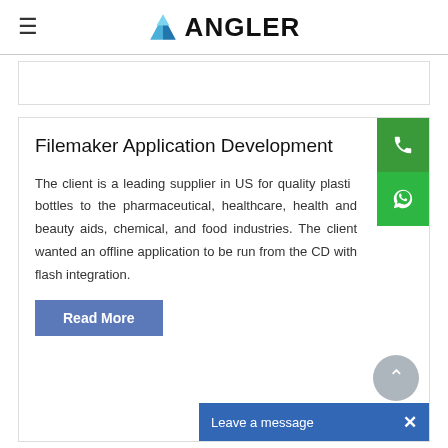ANGLER
Filemaker Application Development
The client is a leading supplier in US for quality plastic bottles to the pharmaceutical, healthcare, health and beauty aids, chemical, and food industries. The client wanted an offline application to be run from the CD with flash integration.
Read More
Leave a message